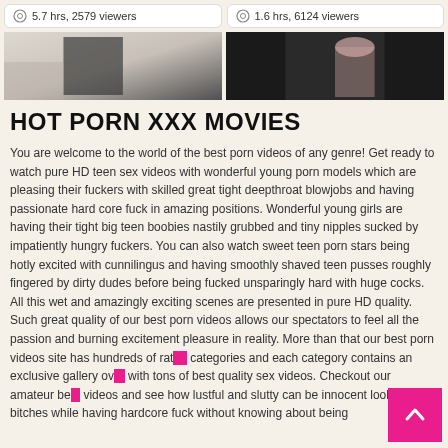5.7 hrs, 2579 viewers
1.6 hrs, 6124 viewers
[Figure (photo): Two thumbnail images side by side: left shows a light-colored room scene, right shows a person with pink headphones against a dark background]
HOT PORN XXX MOVIES
You are welcome to the world of the best porn videos of any genre! Get ready to watch pure HD teen sex videos with wonderful young porn models which are pleasing their fuckers with skilled great tight deepthroat blowjobs and having passionate hard core fuck in amazing positions. Wonderful young girls are having their tight big teen boobies nastily grubbed and tiny nipples sucked by impatiently hungry fuckers. You can also watch sweet teen porn stars being hotly excited with cunnilingus and having smoothly shaved teen pusses roughly fingered by dirty dudes before being fucked unsparingly hard with huge cocks. All this wet and amazingly exciting scenes are presented in pure HD quality. Such great quality of our best porn videos allows our spectators to feel all the passion and burning excitement pleasure in reality. More than that our best porn videos site has hundreds of rated categories and each category contains an exclusive gallery over with tons of best quality sex videos. Checkout our amateur best videos and see how lustful and slutty can be innocent looking teen bitches while having hardcore fuck without knowing about being